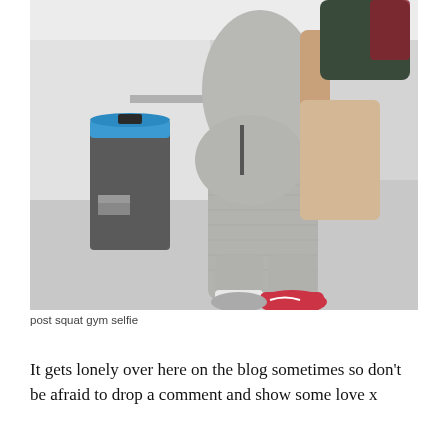[Figure (photo): A person wearing grey ribbed leggings and pink sneakers, viewed from behind/side, carrying clothing items, standing in what appears to be a gym or public indoor space with a trash can visible in the background.]
post squat gym selfie
It gets lonely over here on the blog sometimes so don't be afraid to drop a comment and show some love x